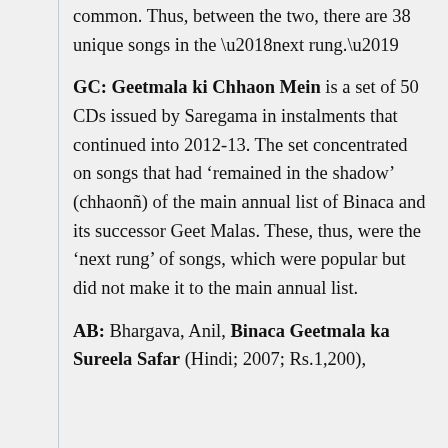common. Thus, between the two, there are 38 unique songs in the ‘next rung.’
GC: Geetmala ki Chhaon Mein is a set of 50 CDs issued by Saregama in instalments that continued into 2012-13. The set concentrated on songs that had ‘remained in the shadow’ (chhaonñ) of the main annual list of Binaca and its successor Geet Malas. These, thus, were the ‘next rung’ of songs, which were popular but did not make it to the main annual list.
AB: Bhargava, Anil, Binaca Geetmala ka Sureela Safar (Hindi; 2007; Rs.1,200),